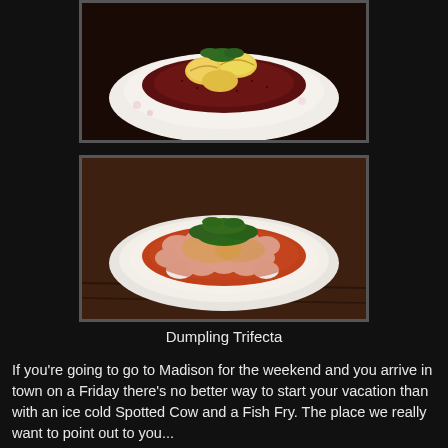[Figure (photo): Close-up photo of dumplings in dark red sauce on a white plate with herb garnish]
[Figure (photo): Close-up photo of dumplings covered in orange-red sauce with green herb garnish in a white oval dish]
Dumpling Trifecta
If you're going to go to Madison for the weekend and you arrive in town on a Friday there's no better way to start your vacation than with an ice cold Spotted Cow and a Fish Fry. The place we really want to point out to you...